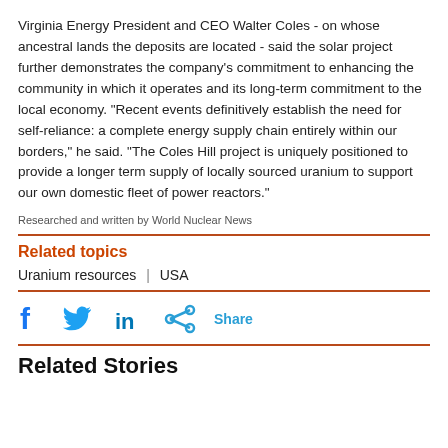Virginia Energy President and CEO Walter Coles - on whose ancestral lands the deposits are located - said the solar project further demonstrates the company's commitment to enhancing the community in which it operates and its long-term commitment to the local economy. "Recent events definitively establish the need for self-reliance: a complete energy supply chain entirely within our borders," he said. "The Coles Hill project is uniquely positioned to provide a longer term supply of locally sourced uranium to support our own domestic fleet of power reactors."
Researched and written by World Nuclear News
Related topics
Uranium resources  |  USA
[Figure (infographic): Social media share icons: Facebook (f), Twitter bird, LinkedIn (in), share icon, and Share label]
Related Stories